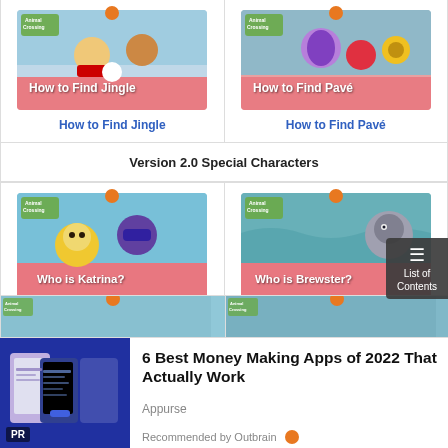[Figure (screenshot): Thumbnail for 'How to Find Jingle' Animal Crossing article]
How to Find Jingle
[Figure (screenshot): Thumbnail for 'How to Find Pavé' Animal Crossing article]
How to Find Pavé
Version 2.0 Special Characters
[Figure (screenshot): Thumbnail for 'Who is Katrina?' Animal Crossing article]
Who is Katrina?
[Figure (screenshot): Thumbnail for 'Who is Brewster?' Animal Crossing article]
Who is Brewster?
[Figure (screenshot): Partial thumbnail for another Animal Crossing article (bottom, cut off)]
[Figure (screenshot): Partial thumbnail for another Animal Crossing article (bottom right, cut off)]
6 Best Money Making Apps of 2022 That Actually Work
Appurse
Recommended by Outbrain